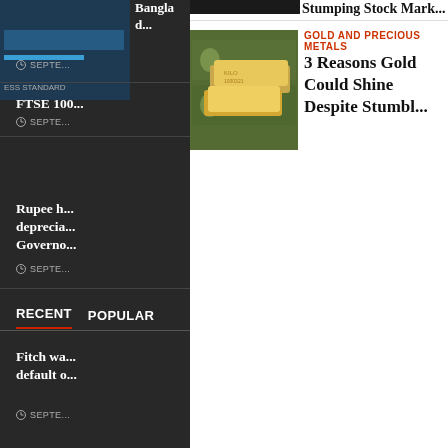[Figure (screenshot): Small financial chart thumbnail with blue bars/line indicator on dark background, with 'ESS STANDARD' label]
Banglad...
SEPTE...
FTSE 100
SEPTE...
Rupee h... deprecia... Governo...
SEPTE...
RECENT   POPULAR
Fitch wa... default o...
SEPTE...
[Figure (photo): Gold bars stacked on US dollar bills]
GOLD AND PRECIOUS METALS
3 Reasons Gold Could Shine Despite Stumbl...
Stumping Stock Mark...